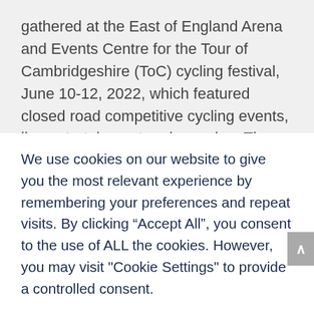gathered at the East of England Arena and Events Centre for the Tour of Cambridgeshire (ToC) cycling festival, June 10-12, 2022, which featured closed road competitive cycling events, live entertainment and camping. The event began with the single and group time
We use cookies on our website to give you the most relevant experience by remembering your preferences and repeat visits. By clicking “Accept All”, you consent to the use of ALL the cookies. However, you may visit "Cookie Settings" to provide a controlled consent.